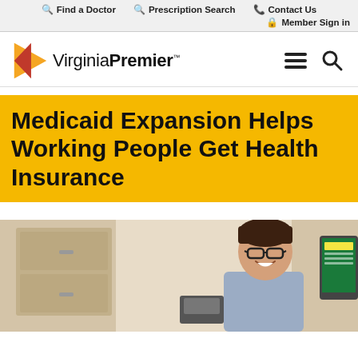Find a Doctor   Prescription Search   Contact Us   Member Sign in
[Figure (logo): Virginia Premier logo with orange/red triangle and wordmark]
Medicaid Expansion Helps Working People Get Health Insurance
[Figure (photo): Young man with glasses smiling at a desk with a computer monitor visible on the right side, in an office setting]